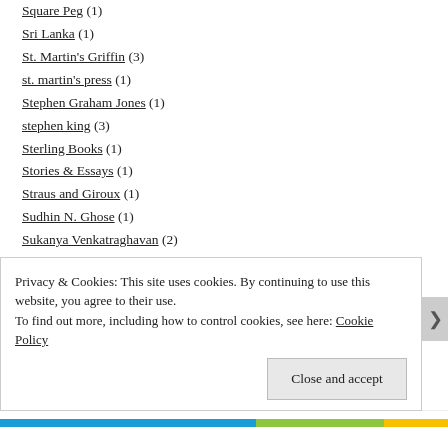Square Peg (1)
Sri Lanka (1)
St. Martin's Griffin (3)
st. martin's press (1)
Stephen Graham Jones (1)
stephen king (3)
Sterling Books (1)
Stories & Essays (1)
Straus and Giroux (1)
Sudhin N. Ghose (1)
Sukanya Venkatraghavan (2)
Sumana Roy (1)
Privacy & Cookies: This site uses cookies. By continuing to use this website, you agree to their use. To find out more, including how to control cookies, see here: Cookie Policy